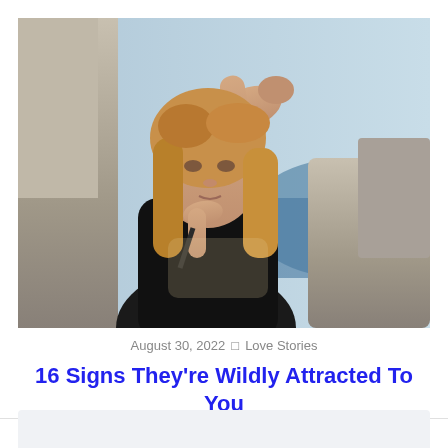[Figure (photo): A woman with long blonde hair wearing a black top, posing outdoors against rocky cliffs with the ocean visible in the background, hand raised to forehead.]
August 30, 2022  □ Love Stories
16 Signs They're Wildly Attracted To You
[Figure (other): Partial light gray card/box visible at the bottom of the page]